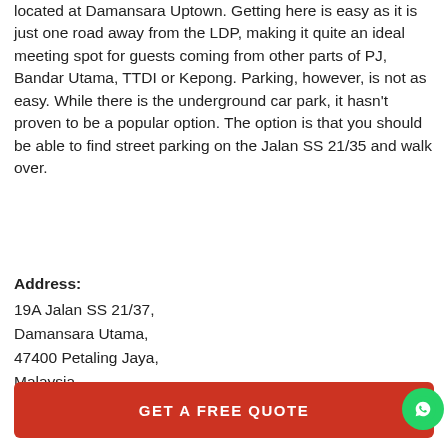located at Damansara Uptown. Getting here is easy as it is just one road away from the LDP, making it quite an ideal meeting spot for guests coming from other parts of PJ, Bandar Utama, TTDI or Kepong. Parking, however, is not as easy. While there is the underground car park, it hasn't proven to be a popular option. The option is that you should be able to find street parking on the Jalan SS 21/35 and walk over.
Address:
19A Jalan SS 21/37,
Damansara Utama,
47400 Petaling Jaya,
Malaysia
GET A FREE QUOTE